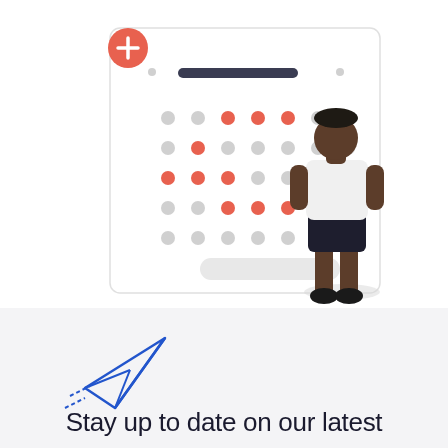[Figure (illustration): Illustration of a person standing and looking at a calendar widget with a red plus button in the top-left corner. The calendar shows a grid of dots (red and grey) representing days, a dark header bar, navigation arrows, and a rounded button at the bottom. A dark-skinned man in a white shirt and dark shorts stands to the right, viewed from behind.]
[Figure (illustration): Blue paper airplane / send icon illustration with dashed motion lines indicating movement.]
Stay up to date on our latest